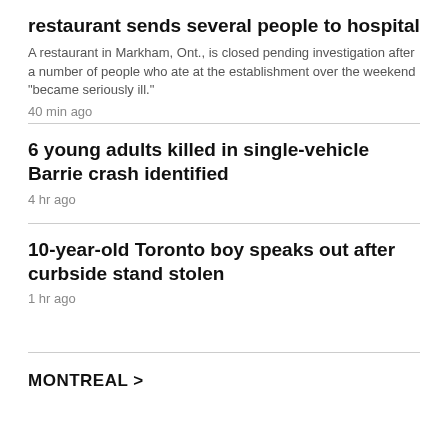restaurant sends several people to hospital
A restaurant in Markham, Ont., is closed pending investigation after a number of people who ate at the establishment over the weekend "became seriously ill."
40 min ago
6 young adults killed in single-vehicle Barrie crash identified
4 hr ago
10-year-old Toronto boy speaks out after curbside stand stolen
1 hr ago
MONTREAL >